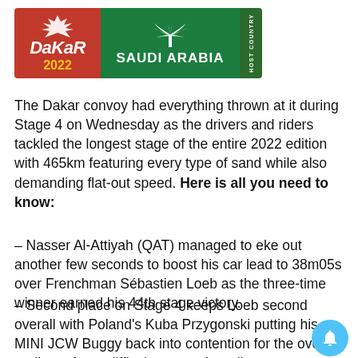[Figure (logo): Dakar 2022 Saudi Arabia Host Country banner logo with red Dakar 2022 section, green Saudi Arabia section with palm tree emblem, and vertical Host Country strip]
The Dakar convoy had everything thrown at it during Stage 4 on Wednesday as the drivers and riders tackled the longest stage of the entire 2022 edition with 465km featuring every type of sand while also demanding flat-out speed. Here is all you need to know:
– Nasser Al-Attiyah (QAT) managed to eke out another few seconds to boost his car lead to 38m05s over Frenchman Sébastien Loeb as the three-time winner earned his 44th stage victory.
– Second place on Stage 4 keeps Loeb second overall with Poland's Kuba Przygonski putting his MINI JCW Buggy back into contention for the overall podium after a difficult start to the rally.